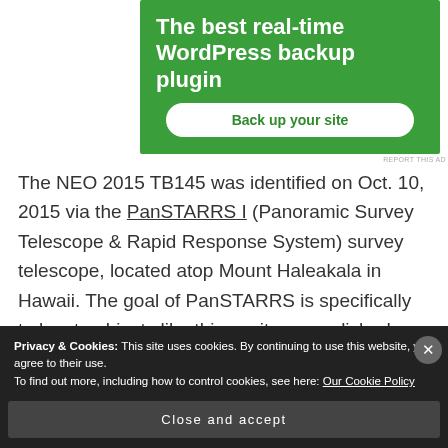[Figure (screenshot): Green advertisement banner for a WordPress backup plugin with white bold text 'The best real-time WordPress backup plugin' and a white rounded button 'Back up your site']
REPORT THIS AD
The NEO 2015 TB145 was identified on Oct. 10, 2015 via the PanSTARRS I (Panoramic Survey Telescope & Rapid Response System) survey telescope, located atop Mount Haleakala in Hawaii. The goal of PanSTARRS is specifically to locate objects like this, so it accomplished exactly what it should. But it also
Privacy & Cookies: This site uses cookies. By continuing to use this website, you agree to their use.
To find out more, including how to control cookies, see here: Our Cookie Policy
Close and accept